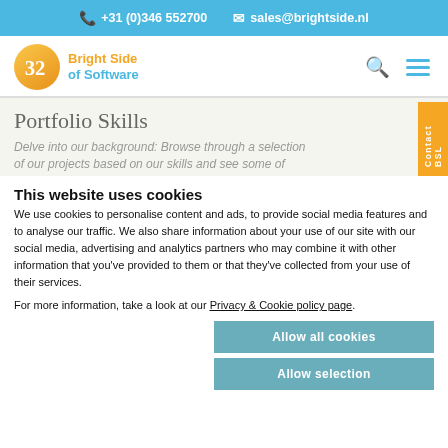+31 (0)346 552700   sales@brightside.nl
[Figure (logo): Bright Side of Software logo with orange circle and blue text]
Portfolio Skills
Delve into our background: Browse through a selection of our projects based on our skills and see some of
This website uses cookies
We use cookies to personalise content and ads, to provide social media features and to analyse our traffic. We also share information about your use of our site with our social media, advertising and analytics partners who may combine it with other information that you've provided to them or that they've collected from your use of their services.
For more information, take a look at our Privacy & Cookie policy page.
Allow all cookies
Allow selection